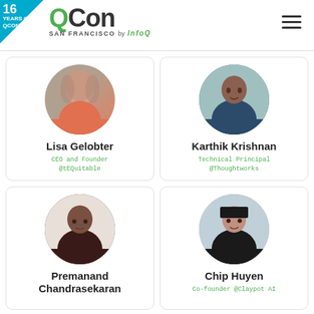QCon SAN FRANCISCO by InfoQ — 16 Years of QCon
[Figure (photo): Circular portrait photo of Lisa Gelobter]
Lisa Gelobter
CEO and Founder
@tEQuitable
[Figure (photo): Circular portrait photo of Karthik Krishnan]
Karthik Krishnan
Technical Principal
@Thoughtworks
[Figure (photo): Circular portrait photo of Premanand Chandrasekaran]
Premanand
Chandrasekaran
[Figure (photo): Circular portrait photo of Chip Huyen]
Chip Huyen
Co-founder @Claypot AI